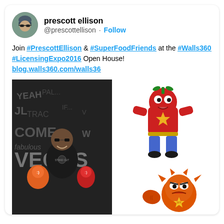prescott ellison
@prescottellison · Follow
Join #PrescottEllison & #SuperFoodFriends at the #Walls360 #LicensingExpo2016 Open House! blog.walls360.com/walls36...
[Figure (photo): Man in black t-shirt holding cartoon food character toys in front of a Las Vegas text wall mural]
[Figure (illustration): Cartoon superhero food characters - red pepper/tomato character and an orange character with angry expression, wearing superhero costumes]